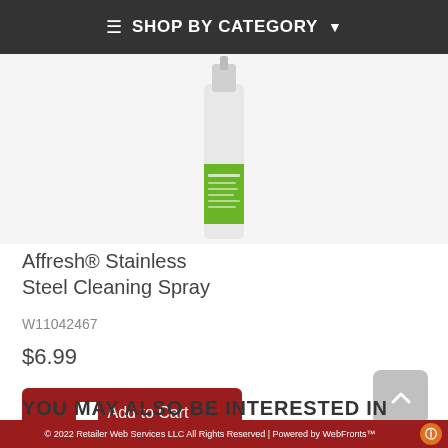SHOP BY CATEGORY
[Figure (photo): Affresh Stainless Steel Cleaning Spray product image — tall spray bottle with green and white label]
Affresh® Stainless Steel Cleaning Spray
W11042467
$6.99
Add to Cart
YOU MAY ALSO BE INTERESTED IN
© 2022 Retailer Web Services LLC All Rights Reserved | Powered by WebFronts™